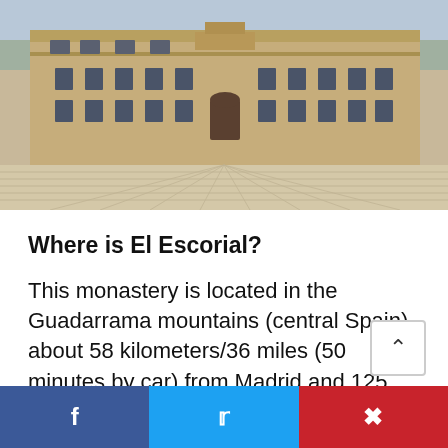[Figure (photo): Facade of El Escorial monastery, a large granite building with many windows and a central doorway, seen from a wide courtyard with stone paving in bright sunlight.]
Where is El Escorial?
This monastery is located in the Guadarrama mountains (central Spain), about 58 kilometers/36 miles (50 minutes by car) from Madrid and 125